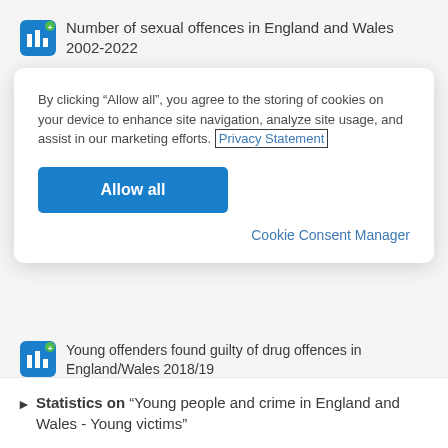Number of sexual offences in England and Wales 2002-2022
By clicking “Allow all”, you agree to the storing of cookies on your device to enhance site navigation, analyze site usage, and assist in our marketing efforts. Privacy Statement
Allow all
Cookie Consent Manager
Young offenders found guilty of drug offences in England/Wales 2018/19
Statistics on “Young people and crime in England and Wales - Young victims”